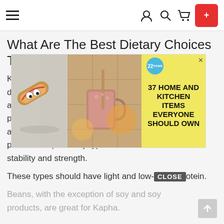Navigation bar with menu, user, search, cart icons and SHOP button
What Are The Best Dietary Choices To Maintain...
Kapha [ad overlay] protein diet like the Atkins diet. Not only should they avoid too much fat, but also, excessive heavy protein. The Kapha quality is already heavy, and although this doesn't sound great, it is what provides Kapha body types with wonderful stability and strength.
[Figure (advertisement): Yellow advertisement banner: '37 HOME AND KITCHEN ITEMS EVERYONE SHOULD OWN' with food/kitchen photos on left, badge showing '22', and X close button]
These types should have light and low-[CLOSE]protein.
Beans, with the exception of soy and soy products, are great for Kapha.